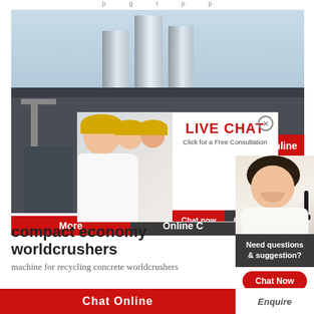compact economy worldcrushers
[Figure (photo): Industrial facility with large metal silos/storage tanks and building, workers in hard hats in foreground. Live chat popup overlay showing workers in yellow hard hats with LIVE CHAT button and 'Click for a Free Consultation', Chat now / Chat later buttons.]
hrs Online
More
Online C
[Figure (photo): Customer service agent (woman with headset) with 'Need questions & suggestion?' text and 'Chat Now' button]
Need questions & suggestion?
Chat Now
compact economy worldcrushers
machine for recycling concrete worldcrushers
Chat Online
Enquire